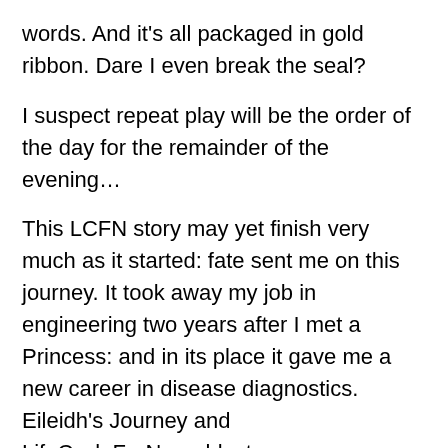words. And it's all packaged in gold ribbon. Dare I even break the seal?
I suspect repeat play will be the order of the day for the remainder of the evening…
This LCFN story may yet finish very much as it started: fate sent me on this journey. It took away my job in engineering two years after I met a Princess: and in its place it gave me a new career in disease diagnostics. Eileidh's Journey and LifeCycleForNeuroblastoma are more, much more than a couple of brand names for a special sort of pain. When you go through something as long and as demanding on yourself as we have, you emerge a different person on the other side.
She went in as a wee girl: but she came out the other side